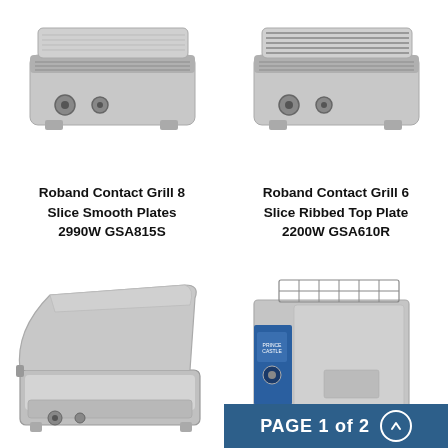[Figure (photo): Roband Contact Grill 8 Slice Smooth Plates - top-down product photo of stainless steel commercial grill]
[Figure (photo): Roband Contact Grill 6 Slice Ribbed Top Plate - top-down product photo of stainless steel commercial grill]
Roband Contact Grill 8 Slice Smooth Plates 2990W GSA815S
Roband Contact Grill 6 Slice Ribbed Top Plate 2200W GSA610R
[Figure (photo): Open commercial contact grill with smooth plates, side view showing open lid]
[Figure (photo): Prince Castle commercial toaster/conveyor oven, stainless steel with blue panel and wire rack on top]
PAGE 1 of 2